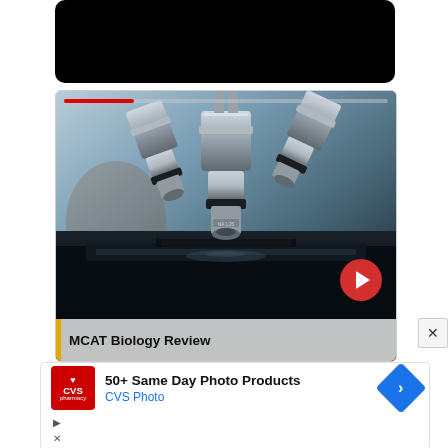[Figure (screenshot): Black banner/header area at top of a video player interface]
[Figure (photo): Screenshot of a video player showing a close-up photo of microscope lenses and stage. A red progress bar is at the top. A red circular play/next button is visible at bottom right. The title overlay reads MCAT Biology Review on a semi-transparent grey bar with an orange accent.]
MCAT Biology Review
[Figure (screenshot): Advertisement banner: CVS Pharmacy red logo on left, text '50+ Same Day Photo Products' and 'CVS Photo' in blue, blue diamond navigation icon on right. Small play and close icons below.]